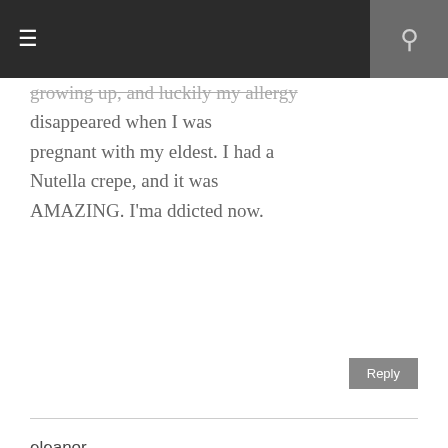≡  🔍
growing up, and luckily my allergy disappeared when I was pregnant with my eldest. I had a Nutella crepe, and it was AMAZING. I'ma ddicted now.
Reply
eleanor
April 15, 2014 at 9:26 PM
I have fond memories of my mother and grandmother making me toast with Nutella spread on top. They sometimes also spread some peanut butter or jam with Nutella. Pretty Good!